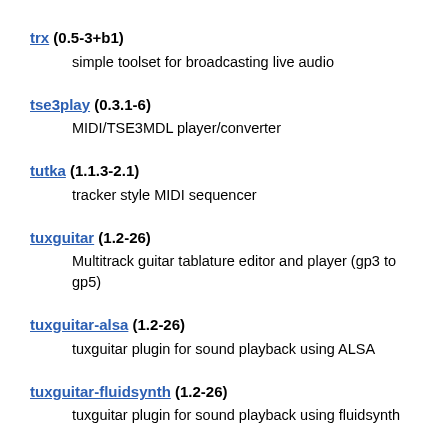trx (0.5-3+b1)
    simple toolset for broadcasting live audio
tse3play (0.3.1-6)
    MIDI/TSE3MDL player/converter
tutka (1.1.3-2.1)
    tracker style MIDI sequencer
tuxguitar (1.2-26)
    Multitrack guitar tablature editor and player (gp3 to gp5)
tuxguitar-alsa (1.2-26)
    tuxguitar plugin for sound playback using ALSA
tuxguitar-fluidsynth (1.2-26)
    tuxguitar plugin for sound playback using fluidsynth